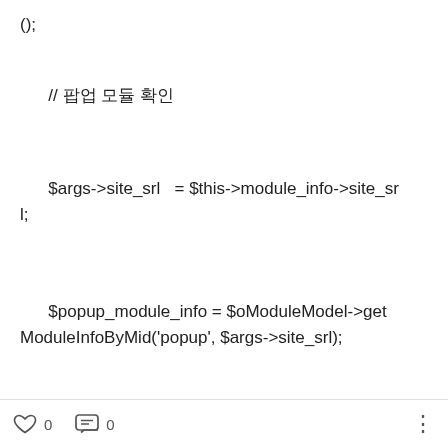// 팝업 모듈 확인
$args->site_srl   = $this->module_info->site_srl;
$popup_module_info = $oModuleModel->getModuleInfoByMid('popup', $args->site_srl);
if (!$popup_module_info) return;
// 유효일자 팝업 목록 구하기
$args->curdate = date("Ymd", mktime());
0   0